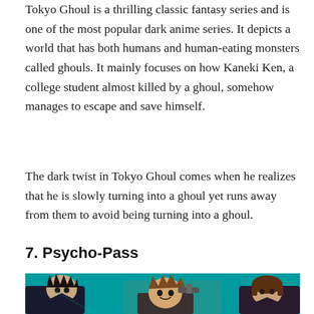Tokyo Ghoul is a thrilling classic fantasy series and is one of the most popular dark anime series. It depicts a world that has both humans and human-eating monsters called ghouls. It mainly focuses on how Kaneki Ken, a college student almost killed by a ghoul, somehow manages to escape and save himself.
The dark twist in Tokyo Ghoul comes when he realizes that he is slowly turning into a ghoul yet runs away from them to avoid being turning into a ghoul.
7. Psycho-Pass
[Figure (illustration): Anime illustration showing three characters from Psycho-Pass against a teal/cyan background. Left character has dark spiky hair wearing dark clothing. Center character has brown messy hair holding a weapon and smiling. Right character is a female with short brown hair.]